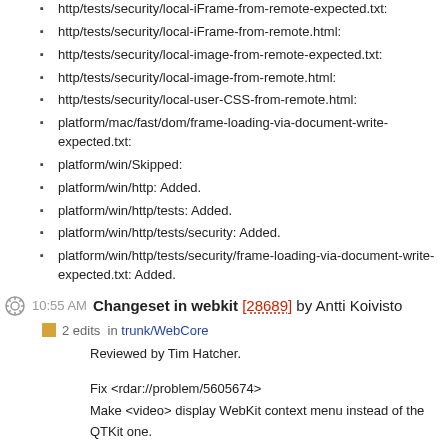http/tests/security/local-iFrame-from-remote-expected.txt:
http/tests/security/local-iFrame-from-remote.html:
http/tests/security/local-image-from-remote-expected.txt:
http/tests/security/local-image-from-remote.html:
http/tests/security/local-user-CSS-from-remote.html:
platform/mac/fast/dom/frame-loading-via-document-write-expected.txt:
platform/win/Skipped:
platform/win/http: Added.
platform/win/http/tests: Added.
platform/win/http/tests/security: Added.
platform/win/http/tests/security/frame-loading-via-document-write-expected.txt: Added.
10:55 AM Changeset in webkit [28689] by Antti Koivisto
2 edits in trunk/WebCore
Reviewed by Tim Hatcher.
Fix <rdar://problem/5605674>
Make <video> display WebKit context menu instead of the QTKit one.
It doesn't really matter where the QTMovieView is.
ChangeLog:
platform/graphics/mac/MediaPlayerPrivateQTKit.mm:
(WebCore::MediaPlayerPrivate::createQTMovieView):